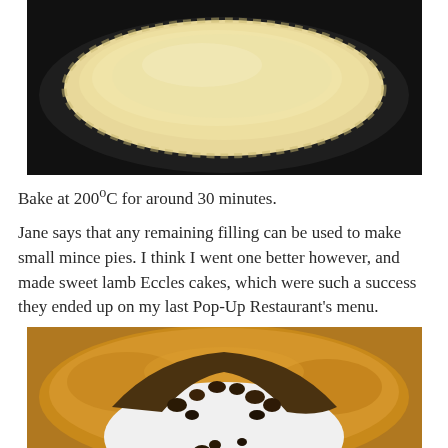[Figure (photo): An unbaked pie with a smooth pale pastry top on a dark baking tray, viewed from above.]
Bake at 200°C for around 30 minutes.
Jane says that any remaining filling can be used to make small mince pies. I think I went one better however, and made sweet lamb Eccles cakes, which were such a success they ended up on my last Pop-Up Restaurant's menu.
[Figure (photo): A baked golden pie with a slice removed showing dark, chunky fruit and meat filling inside, on a white plate.]